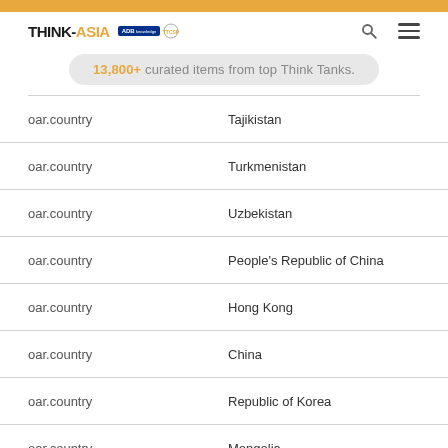THINK-ASIA | ADB | TTCSP — 13,800+ curated items from top Think Tanks.
| Field | Value |
| --- | --- |
| oar.country | Tajikistan |
| oar.country | Turkmenistan |
| oar.country | Uzbekistan |
| oar.country | People's Republic of China |
| oar.country | Hong Kong |
| oar.country | China |
| oar.country | Republic of Korea |
| oar.country | Mongolia |